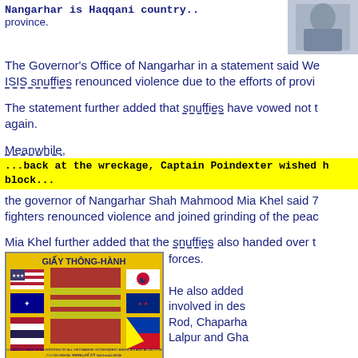Nangarhar is Haqqani country.. province.
[Figure (photo): Partial photo of a person, cropped at top right]
The Governor's Office of Nangarhar in a statement said Wednesday that ISIS snuffies renounced violence due to the efforts of provincial...
The statement further added that snuffies have vowed not to carry out attacks again.
Meanwhile,
...back at the wreckage, Captain Poindexter wished h block...
the governor of Nangarhar Shah Mahmood Mia Khel said 7 fighters renounced violence and joined grinding of the peac...
Mia Khel further added that the snuffies also handed over t forces.
[Figure (photo): Vietnamese safe conduct pass (Giay Thong-Hanh) with flags of USA, South Vietnam, Australia, South Korea, Philippines and others, with text in Vietnamese and English]
He also added involved in des Rod, Chaparka Lalpur and Gha
According to M Talibs have ren